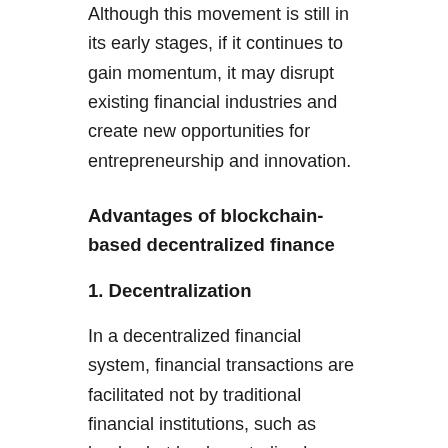Although this movement is still in its early stages, if it continues to gain momentum, it may disrupt existing financial industries and create new opportunities for entrepreneurship and innovation.
Advantages of blockchain-based decentralized finance
1. Decentralization
In a decentralized financial system, financial transactions are facilitated not by traditional financial institutions, such as banks, but by decentralized peer-to-peer networks. By reducing the involvement of these centralized institutions, decentralized networks reduce transaction costs and create network effects without incurring monopoly costs. Even when a decentralized peer-to-peer network rises to dominance, the absence of a monopoly effects